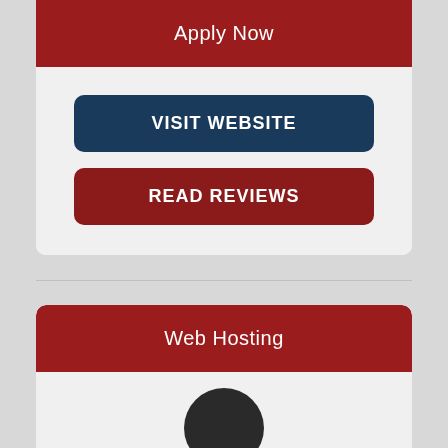Apply Now
VISIT WEBSITE
READ REVIEWS
Web Hosting
[Figure (illustration): Partial circular avatar/logo at the bottom of a Web Hosting card]